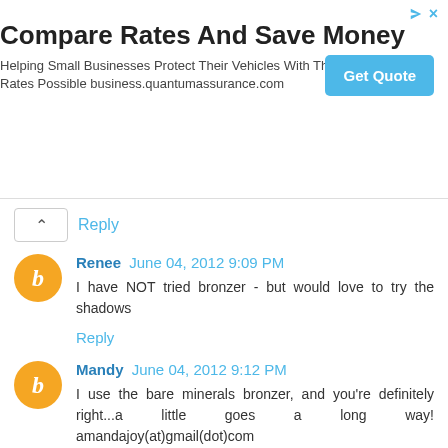[Figure (other): Advertisement banner: Compare Rates And Save Money - Helping Small Businesses Protect Their Vehicles With The Lowest Rates Possible business.quantumassurance.com with a blue Get Quote button]
Reply
Renee  June 04, 2012 9:09 PM
I have NOT tried bronzer - but would love to try the shadows
Reply
Mandy  June 04, 2012 9:12 PM
I use the bare minerals bronzer, and you're definitely right...a little goes a long way! amandajoy(at)gmail(dot)com
Reply